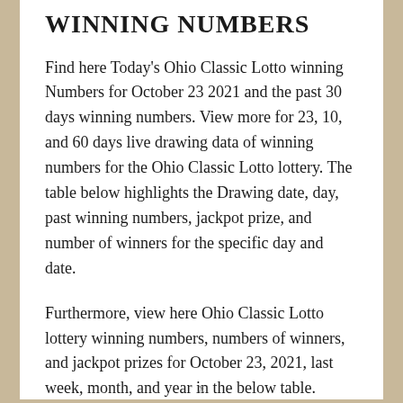WINNING NUMBERS
Find here Today's Ohio Classic Lotto winning Numbers for October 23 2021 and the past 30 days winning numbers. View more for 23, 10, and 60 days live drawing data of winning numbers for the Ohio Classic Lotto lottery. The table below highlights the Drawing date, day, past winning numbers, jackpot prize, and number of winners for the specific day and date.
Furthermore, view here Ohio Classic Lotto lottery winning numbers, numbers of winners, and jackpot prizes for October 23, 2021, last week, month, and year in the below table.